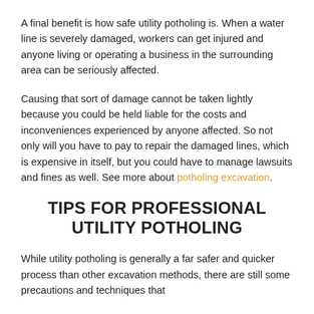A final benefit is how safe utility potholing is. When a water line is severely damaged, workers can get injured and anyone living or operating a business in the surrounding area can be seriously affected.
Causing that sort of damage cannot be taken lightly because you could be held liable for the costs and inconveniences experienced by anyone affected. So not only will you have to pay to repair the damaged lines, which is expensive in itself, but you could have to manage lawsuits and fines as well. See more about potholing excavation.
TIPS FOR PROFESSIONAL UTILITY POTHOLING
While utility potholing is generally a far safer and quicker process than other excavation methods, there are still some precautions and techniques that